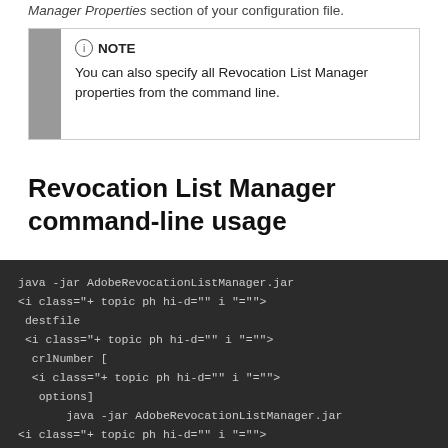Manager Properties section of your configuration file.
NOTE
You can also specify all Revocation List Manager properties from the command line.
Revocation List Manager command-line usage
[Figure (screenshot): Dark background code block showing java -jar AdobeRevocationListManager.jar command with XML-like class attributes and parameters including destfile, crlNumber, and options.]